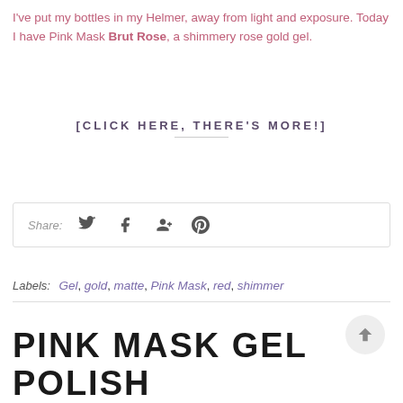I've put my bottles in my Helmer, away from light and exposure. Today I have Pink Mask Brut Rose, a shimmery rose gold gel.
[CLICK HERE, THERE'S MORE!]
Share:
Labels: Gel, gold, matte, Pink Mask, red, shimmer
PINK MASK GEL POLISH